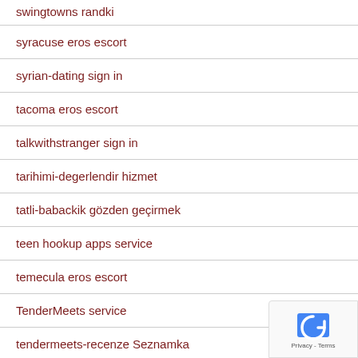swingtowns randki
syracuse eros escort
syrian-dating sign in
tacoma eros escort
talkwithstranger sign in
tarihimi-degerlendir hizmet
tatli-babackik gözden geçirmek
teen hookup apps service
temecula eros escort
TenderMeets service
tendermeets-recenze Seznamka
texas-el-paso-dating login
texas-san-antonio-personals login